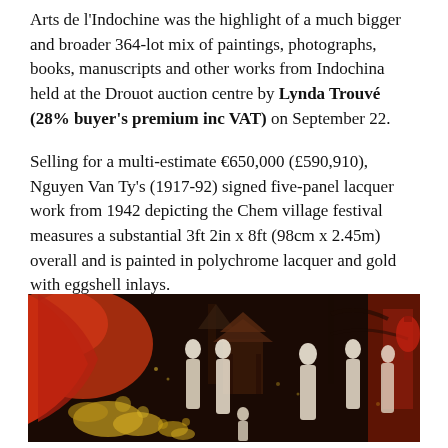Arts de l'Indochine was the highlight of a much bigger and broader 364-lot mix of paintings, photographs, books, manuscripts and other works from Indochina held at the Drouot auction centre by Lynda Trouvé (28% buyer's premium inc VAT) on September 22.
Selling for a multi-estimate €650,000 (£590,910), Nguyen Van Ty's (1917-92) signed five-panel lacquer work from 1942 depicting the Chem village festival measures a substantial 3ft 2in x 8ft (98cm x 2.45m) overall and is painted in polychrome lacquer and gold with eggshell inlays.
[Figure (photo): A Vietnamese five-panel lacquer painting depicting the Chem village festival, with figures in traditional dress against a dark background with red decorative elements, gold detailing, and lush botanical imagery.]